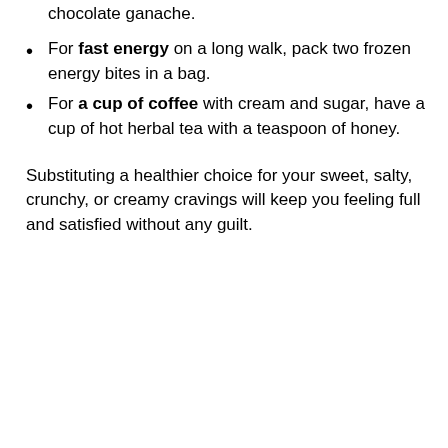chocolate ganache.
For fast energy on a long walk, pack two frozen energy bites in a bag.
For a cup of coffee with cream and sugar, have a cup of hot herbal tea with a teaspoon of honey.
Substituting a healthier choice for your sweet, salty, crunchy, or creamy cravings will keep you feeling full and satisfied without any guilt.